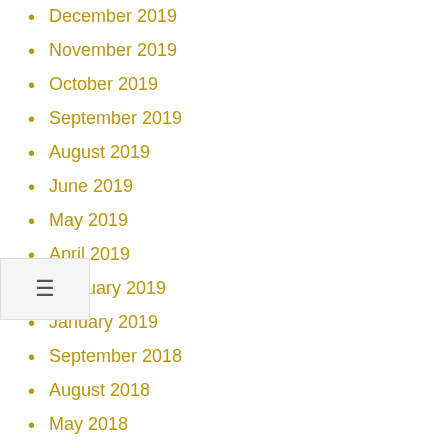December 2019
November 2019
October 2019
September 2019
August 2019
June 2019
May 2019
April 2019
February 2019
January 2019
September 2018
August 2018
May 2018
April 2018
March 2018
January 2018
December 2017
September 2017
August 2017